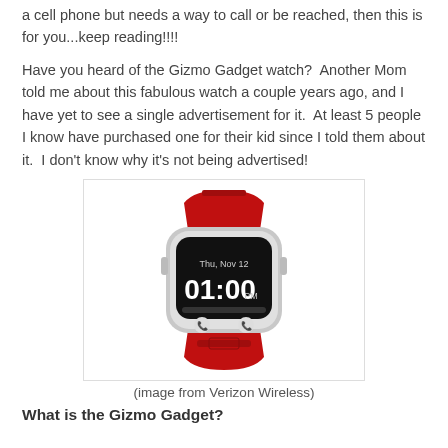a cell phone but needs a way to call or be reached, then this is for you...keep reading!!!!
Have you heard of the Gizmo Gadget watch?  Another Mom told me about this fabulous watch a couple years ago, and I have yet to see a single advertisement for it.  At least 5 people I know have purchased one for their kid since I told them about it.  I don't know why it's not being advertised!
[Figure (photo): Red Gizmo Gadget smartwatch showing Thu, Nov 12 01:00 PM on its screen, with phone call buttons at the bottom]
(image from Verizon Wireless)
What is the Gizmo Gadget?